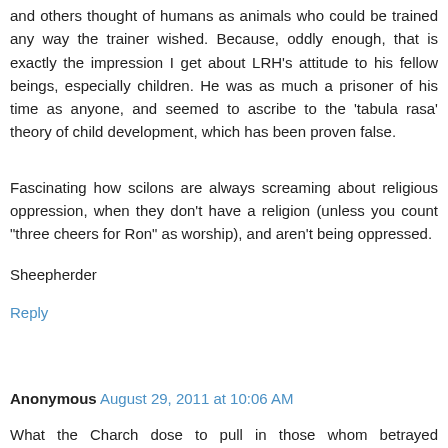and others thought of humans as animals who could be trained any way the trainer wished. Because, oddly enough, that is exactly the impression I get about LRH's attitude to his fellow beings, especially children. He was as much a prisoner of his time as anyone, and seemed to ascribe to the 'tabula rasa' theory of child development, which has been proven false.
Fascinating how scilons are always screaming about religious oppression, when they don't have a religion (unless you count "three cheers for Ron" as worship), and aren't being oppressed.
Sheepherder
Reply
Anonymous  August 29, 2011 at 10:06 AM
What the Charch dose to pull in those whom betrayed Scientology???